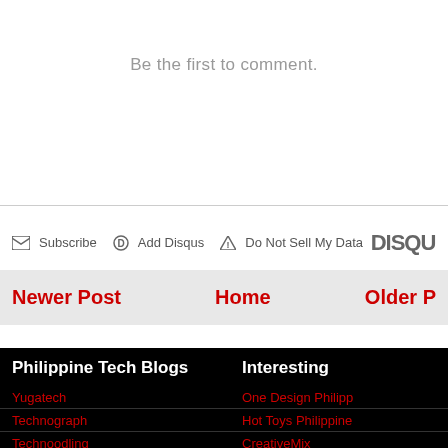Be the first to comment.
Subscribe  Add Disqus  Do Not Sell My Data  DISQU
Newer Post
Home
Older P
Philippine Tech Blogs
Yugatech
Technograph
Technoodling
The Technoclast
Interesting
One Design Philipp
Hot Toys Philippine
CreativeMix